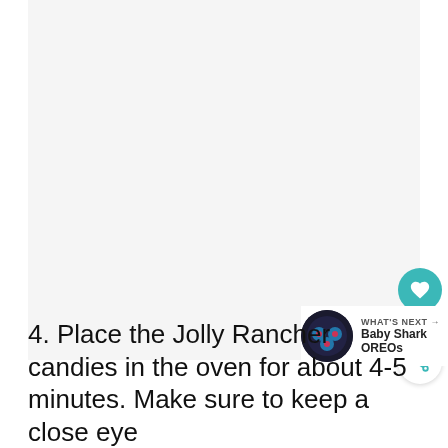[Figure (photo): Large photograph area showing a food/craft item, mostly white/light colored background]
[Figure (illustration): Circular thumbnail image showing Baby Shark OREOs (dark cookies with colorful decorations)]
WHAT'S NEXT → Baby Shark OREOs
4. Place the Jolly Rancher candies in the oven for about 4-5 minutes. Make sure to keep a close eye